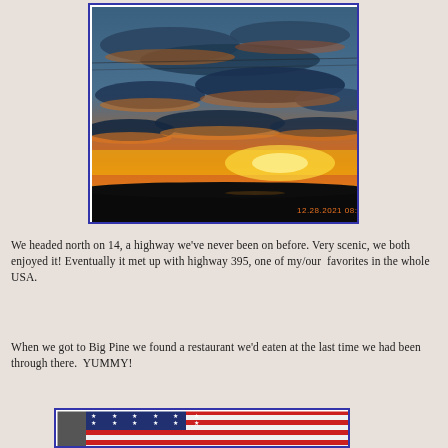[Figure (photo): Sunset or sunrise sky with dramatic orange and gold clouds against blue sky, viewed over a flat dark horizon, with date/time stamp '12.28.2021 08:31' in orange at bottom right]
We headed north on 14, a highway we've never been on before. Very scenic, we both enjoyed it! Eventually it met up with highway 395, one of my/our  favorites in the whole USA.
When we got to Big Pine we found a restaurant we'd eaten at the last time we had been through there.  YUMMY!
[Figure (photo): Partial view of American flag with stars and stripes visible, bottom portion of image cut off]